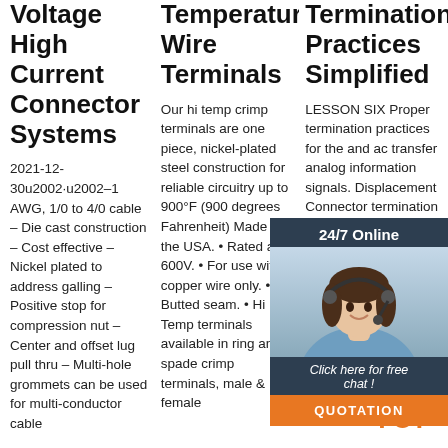Voltage High Current Connector Systems
2021-12-30u2002·u2002–1 AWG, 1/0 to 4/0 cable – Die cast construction – Cost effective – Nickel plated to address galling – Positive stop for compression nut – Center and offset lug pull thru – Multi-hole grommets can be used for multi-conductor cable
Temperature Wire Terminals
Our hi temp crimp terminals are one piece, nickel-plated steel construction for reliable circuitry up to 900°F (900 degrees Fahrenheit) Made in the USA. • Rated at 600V. • For use with copper wire only. • Butted seam. • Hi Temp terminals available in ring and spade crimp terminals, male & female
Termination Practices Simplified
LESSON SIX Proper termination practices for the and ac transfer analog information signals. Displacement Connector termination is the recommended method of copper termination recognized by ANSI/TIA/EIA-568 A for UTP
[Figure (illustration): Customer support widget showing a woman with headset, 24/7 Online label, Click here for free chat, and QUOTATION button in dark navy and orange colors]
[Figure (logo): TOP badge with orange dots above and TOP text in orange]